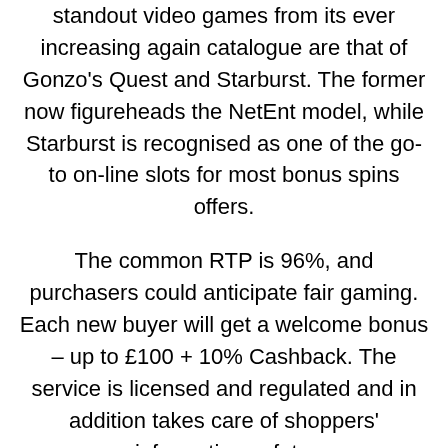standout video games from its ever increasing again catalogue are that of Gonzo's Quest and Starburst. The former now figureheads the NetEnt model, while Starburst is recognised as one of the go-to on-line slots for most bonus spins offers.
The common RTP is 96%, and purchasers could anticipate fair gaming. Each new buyer will get a welcome bonus – up to £100 + 10% Cashback. The service is licensed and regulated and in addition takes care of shoppers' information safety.
Look out for 90-ball, 80-ball, and 75-ball bingo games with ongoing unique prize swimming pools and weekend specials. Yes, as lengthy as